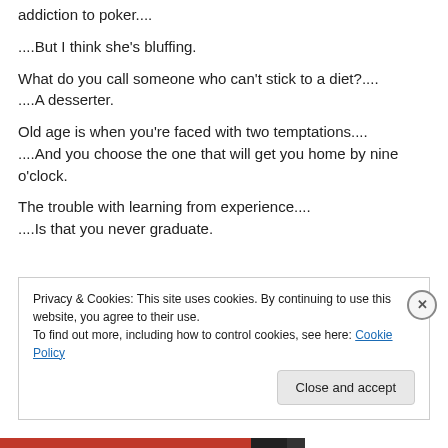addiction to poker....
....But I think she's bluffing.
What do you call someone who can't stick to a diet?.... ....A desserter.
Old age is when you're faced with two temptations.... ....And you choose the one that will get you home by nine o'clock.
The trouble with learning from experience.... ....Is that you never graduate.
Privacy & Cookies: This site uses cookies. By continuing to use this website, you agree to their use. To find out more, including how to control cookies, see here: Cookie Policy